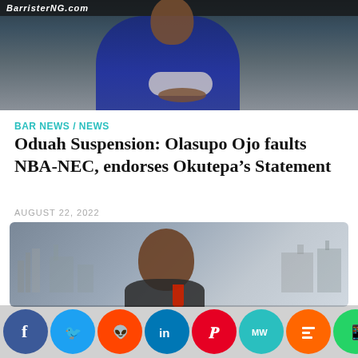[Figure (photo): Top portion of a news article page showing a partial photo of a person in a blue suit sitting at a desk, with a website header bar at top]
BAR NEWS / NEWS
Oduah Suspension: Olasupo Ojo faults NBA-NEC, endorses Okutepa’s Statement
AUGUST 22, 2022
[Figure (photo): Photo of a man in a dark suit with a red tie, speaking or gesturing, with an industrial/city skyline in the background]
[Figure (infographic): Social media sharing buttons row: Facebook (blue), Twitter (light blue), Reddit (orange), LinkedIn (blue), Pinterest (red), MeWe (teal), Mix (orange), WhatsApp (green), Share (orange)]